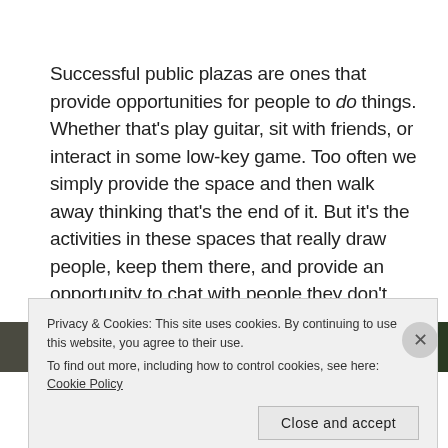Successful public plazas are ones that provide opportunities for people to do things. Whether that's play guitar, sit with friends, or interact in some low-key game. Too often we simply provide the space and then walk away thinking that's the end of it. But it's the activities in these spaces that really draw people, keep them there, and provide an opportunity to chat with people they don't know and may not have interacted with otherwise.
[Figure (photo): Partial photo strip showing outdoor park/plaza scene with trees]
Privacy & Cookies: This site uses cookies. By continuing to use this website, you agree to their use.
To find out more, including how to control cookies, see here: Cookie Policy
Close and accept